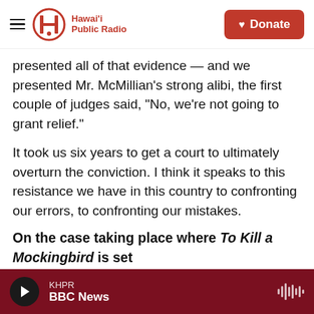Hawai'i Public Radio — Donate
presented all of that evidence — and we presented Mr. McMillian's strong alibi, the first couple of judges said, "No, we're not going to grant relief."
It took us six years to get a court to ultimately overturn the conviction. I think it speaks to this resistance we have in this country to confronting our errors, to confronting our mistakes.
On the case taking place where To Kill a Mockingbird is set
One of the really bizarre parts of this whole case for me was this whole episode took place in
KHPR — BBC News